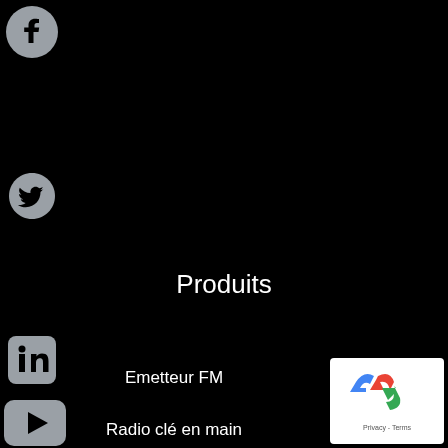[Figure (other): Facebook icon (social media) on black background, grey color]
[Figure (other): Twitter bird icon on black background, grey color]
[Figure (other): LinkedIn icon on black background, grey color]
[Figure (other): YouTube play button icon on black background, grey color]
Produits
Emetteur FM
Radio clé en main
[Figure (other): Google reCAPTCHA badge in bottom right corner with Privacy and Terms links]